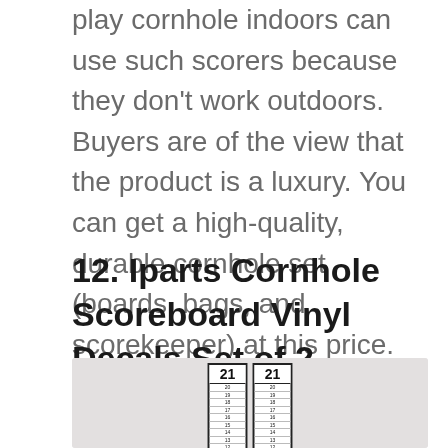play cornhole indoors can use such scorers because they don't work outdoors. Buyers are of the view that the product is a luxury. You can get a high-quality, durable cornhole set (boards, bags, and scorekeeper) at this price.
12. Iparts Cornhole Scoreboard Vinyl Decals Set of 2
[Figure (photo): Two vertical cornhole scoreboard vinyl decals side by side, each showing the number 21 at the top with numbers counting down from 20 to 1, displayed against a light gray background.]